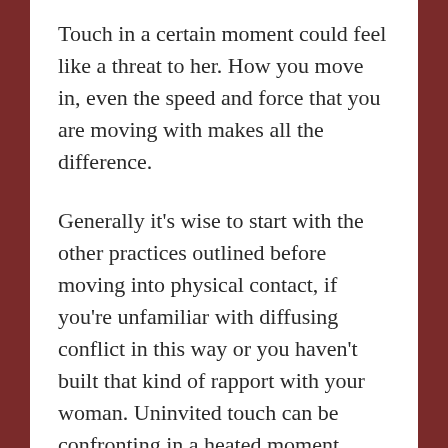Touch in a certain moment could feel like a threat to her. How you move in, even the speed and force that you are moving with makes all the difference.
Generally it's wise to start with the other practices outlined before moving into physical contact, if you're unfamiliar with diffusing conflict in this way or you haven't built that kind of rapport with your woman. Uninvited touch can be confronting in a heated moment, especially for a woman that might have experienced physical abuse in her past. This is why your sensitivity in tuning in to her is essential. You might try reaching for her hand, stroking her face or hair, or even go as far as